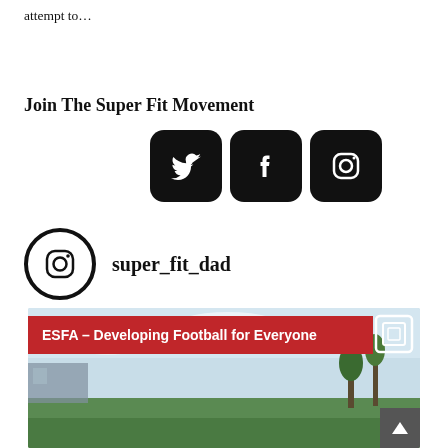attempt to…
Join The Super Fit Movement
[Figure (infographic): Three social media icons (Twitter bird, Facebook f, Instagram camera) in black rounded square buttons]
[Figure (logo): Instagram icon circle logo next to handle text: super_fit_dad]
[Figure (photo): Outdoor football event photo with red ESFA banner reading 'ESFA - Developing Football for Everyone', sky and grass in background, person partially visible at bottom]